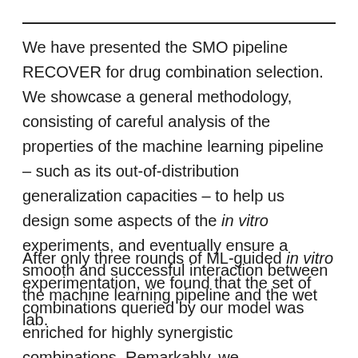We have presented the SMO pipeline RECOVER for drug combination selection. We showcase a general methodology, consisting of careful analysis of the properties of the machine learning pipeline – such as its out-of-distribution generalization capacities – to help us design some aspects of the in vitro experiments, and eventually ensure a smooth and successful interaction between the machine learning pipeline and the wet lab.
After only three rounds of ML-guided in vitro experimentation, we found that the set of combinations queried by our model was enriched for highly synergistic combinations. Remarkably, we